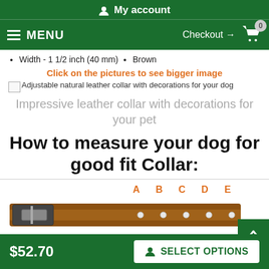My account
MENU   Checkout → 0
Width - 1 1/2 inch (40 mm)
Brown
Click on the pictures to see bigger image
[Figure (photo): Adjustable natural leather collar with decorations for your dog]
Impressive leather collar with decorations for your pet
How to measure your dog for good fit Collar:
[Figure (illustration): Dog collar diagram showing adjustment holes labeled A, B, C, D, E]
$52.70   SELECT OPTIONS